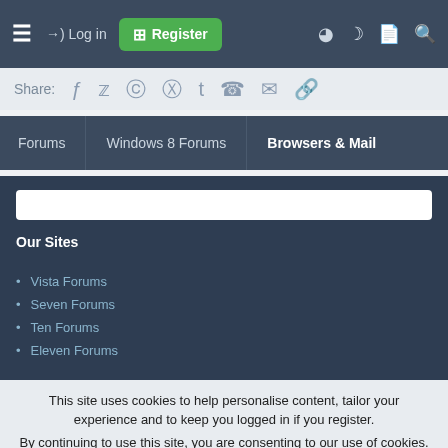≡  →) Log in  [+] Register  ◑  ☽  📄  🔍
Share: Facebook Twitter Reddit Pinterest Tumblr WhatsApp Email Link
Forums > Windows 8 Forums > Browsers & Mail
Our Sites
Vista Forums
Seven Forums
Ten Forums
Eleven Forums
This site uses cookies to help personalise content, tailor your experience and to keep you logged in if you register. By continuing to use this site, you are consenting to our use of cookies.
✓ Accept   Learn more...